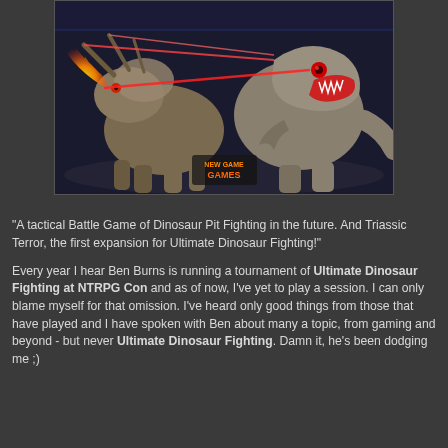[Figure (illustration): Illustration of two fighting dinosaurs — a Triceratops on the left shooting flames and laser beams from its horns, and a T-Rex on the right with its mouth open, in a futuristic arena setting. A logo reading 'NEW GAME GAMES' is visible at the bottom center of the image.]
"A tactical Battle Game of Dinosaur Pit Fighting in the future. And Triassic Terror, the first expansion for Ultimate Dinosaur Fighting!"
Every year I hear Ben Burns is running a tournament of Ultimate Dinosaur Fighting at NTRPG Con and as of now, I've yet to play a session. I can only blame myself for that omission. I've heard only good things from those that have played and I have spoken with Ben about many a topic, from gaming and beyond - but never Ultimate Dinosaur Fighting. Damn it, he's been dodging me ;)